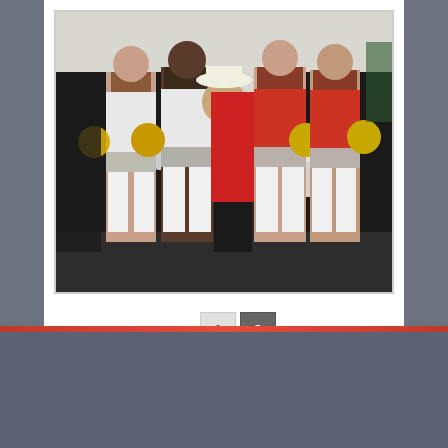[Figure (photo): Group photo of four cheerleaders in white and red uniforms with gold pom-poms posing with an elderly man in a red jacket and cowboy hat, taken inside a tent at an outdoor event.]
◄ 1 2
SPONSORS